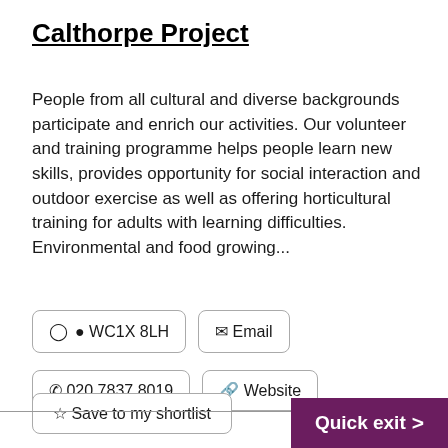Calthorpe Project
People from all cultural and diverse backgrounds participate and enrich our activities. Our volunteer and training programme helps people learn new skills, provides opportunity for social interaction and outdoor exercise as well as offering horticultural training for adults with learning difficulties. Environmental and food growing...
WC1X 8LH
Email
020 7837 8019
Website
Save to my shortlist